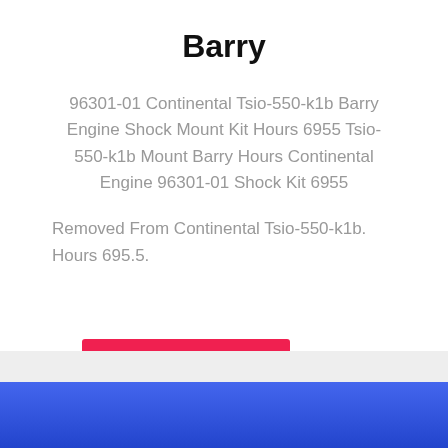Barry
96301-01 Continental Tsio-550-k1b Barry Engine Shock Mount Kit Hours 6955 Tsio-550-k1b Mount Barry Hours Continental Engine 96301-01 Shock Kit 6955
Removed From Continental Tsio-550-k1b. Hours 695.5.
$1155.00